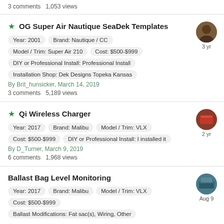3 comments    1,053 views
OG Super Air Nautique SeaDek Templates
Year: 2001
Brand: Nautique / CC
Model / Trim: Super Air 210
Cost: $500-$999
DIY or Professional Install: Professional Install
Installation Shop: Dek Designs Topeka Kansas
By Brit_hunsicker, March 14, 2019
3 comments    5,189 views
Qi Wireless Charger
Year: 2017
Brand: Malibu
Model / Trim: VLX
Cost: $500-$999
DIY or Professional Install: I installed it
By D_Turner, March 9, 2019
6 comments    1,968 views
Ballast Bag Level Monitoring
Year: 2017
Brand: Malibu
Model / Trim: VLX
Cost: $500-$999
Ballast Modifications: Fat sac(s), Wiring, Other